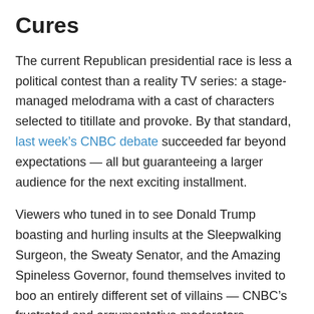Cures
The current Republican presidential race is less a political contest than a reality TV series: a stage-managed melodrama with a cast of characters selected to titillate and provoke. By that standard, last week’s CNBC debate succeeded far beyond expectations — all but guaranteeing a larger audience for the next exciting installment.
Viewers who tuned in to see Donald Trump boasting and hurling insults at the Sleepwalking Surgeon, the Sweaty Senator, and the Amazing Spineless Governor, found themselves invited to boo an entirely different set of villains — CNBC’s frustrated and argumentative moderators.